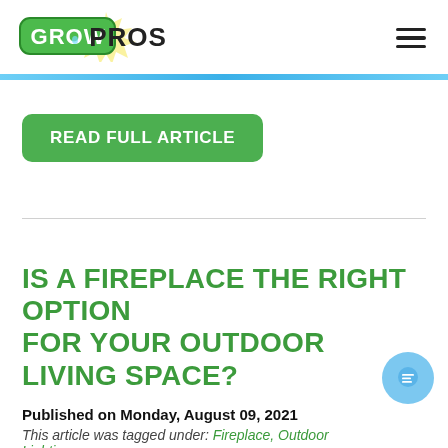GROWPROS
READ FULL ARTICLE
IS A FIREPLACE THE RIGHT OPTION FOR YOUR OUTDOOR LIVING SPACE?
Published on Monday, August 09, 2021
This article was tagged under: Fireplace, Outdoor Lighting